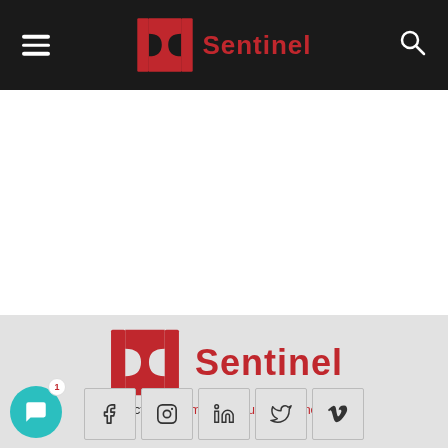Sentinel — navigation bar with hamburger menu and search icon
[Figure (logo): Aurora Sentinel logo — stylized red S-shaped bracket icon with 'Sentinel' text in red, displayed in the gray footer section]
Contact us: webmaster@aurorasentinel.com
[Figure (infographic): Social media icon row: Facebook, Instagram, LinkedIn, Twitter/X, Vimeo — each in a bordered box]
[Figure (other): Teal chat bubble icon in lower left with notification badge showing '1']